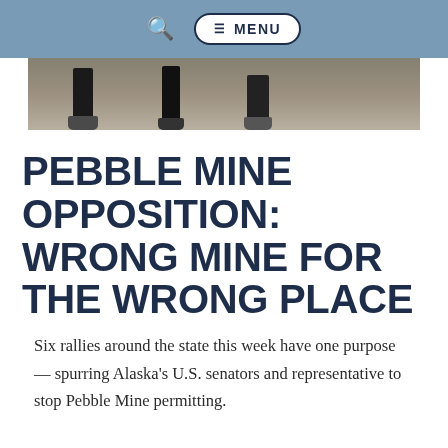MENU
[Figure (photo): Partial photo showing legs and feet of people walking, cropped at the top of the page]
PEBBLE MINE OPPOSITION: WRONG MINE FOR THE WRONG PLACE
Six rallies around the state this week have one purpose — spurring Alaska's U.S. senators and representative to stop Pebble Mine permitting.